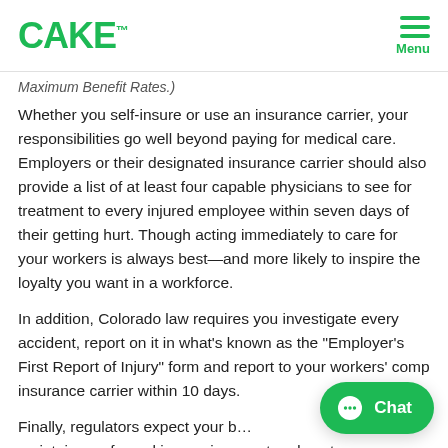CAKE™  Menu
Maximum Benefit Rates.)
Whether you self-insure or use an insurance carrier, your responsibilities go well beyond paying for medical care. Employers or their designated insurance carrier should also provide a list of at least four capable physicians to see for treatment to every injured employee within seven days of their getting hurt. Though acting immediately to care for your workers is always best—and more likely to inspire the loyalty you want in a workforce.
In addition, Colorado law requires you investigate every accident, report on it in what's known as the "Employer's First Report of Injury" form and report to your workers' comp insurance carrier within 10 days.
Finally, regulators expect your b… maintain a safe working environment and post…